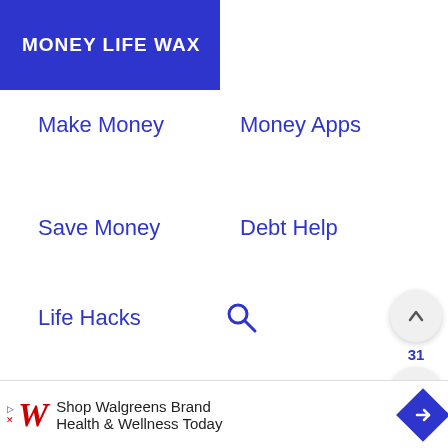MONEY LIFE WAX
Make Money
Money Apps
Save Money
Debt Help
Life Hacks
$27,020.
Shop Walgreens Brand Health & Wellness Today